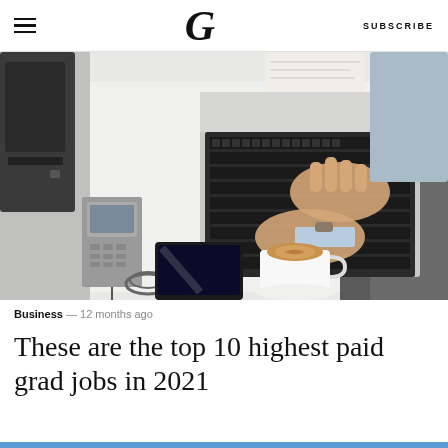G  SUBSCRIBE
[Figure (photo): Overhead view of a person typing on a laptop on a white desk, with a desk phone, tablet, and coffee latte cup visible]
Business — 12 months ago
These are the top 10 highest paid grad jobs in 2021